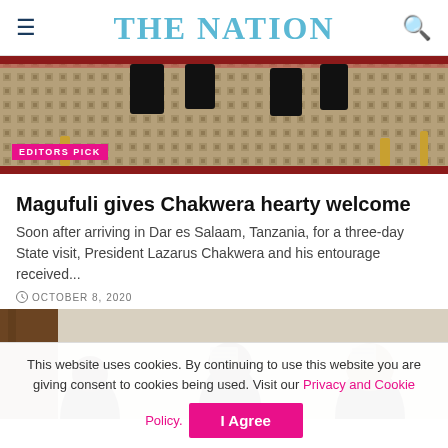THE NATION
[Figure (photo): Top portion of a photo showing feet/shoes of people seated, with a patterned carpet/rug visible. Red striped border at top and bottom. EDITORS PICK badge overlaid in pink.]
Magufuli gives Chakwera hearty welcome
Soon after arriving in Dar es Salaam, Tanzania, for a three-day State visit, President Lazarus Chakwera and his entourage received...
OCTOBER 8, 2020
[Figure (photo): Photo showing people holding up what appear to be papers or documents, with a wooden panel visible on the left side.]
This website uses cookies. By continuing to use this website you are giving consent to cookies being used. Visit our Privacy and Cookie Policy.